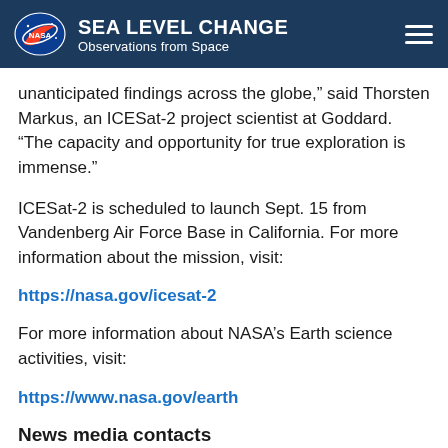SEA LEVEL CHANGE Observations from Space
unanticipated findings across the globe," said Thorsten Markus, an ICESat-2 project scientist at Goddard. "The capacity and opportunity for true exploration is immense."
ICESat-2 is scheduled to launch Sept. 15 from Vandenberg Air Force Base in California. For more information about the mission, visit:
https://nasa.gov/icesat-2
For more information about NASA’s Earth science activities, visit:
https://www.nasa.gov/earth
News media contacts
Steve Cole
Headquarters, Washington